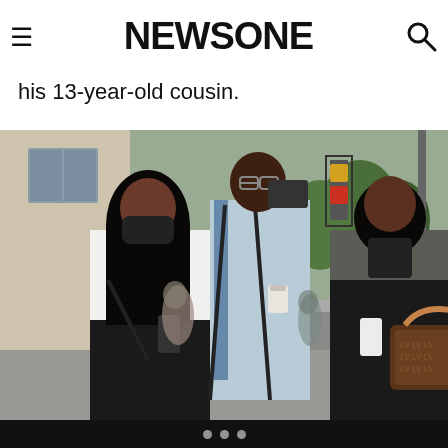≡ NEWSONE 🔍
his 13-year-old cousin.
[Figure (photo): Photo of family members of victim Jocelyn Savage, Timothy – two women and a man walking outside a building on a city sidewalk. One woman in white top and black pants holds a phone, a man in suit with tie and suspenders carries a coffee cup, and another woman in dark outfit carries a Louis Vuitton bag and holds a phone.]
g Family members of victim Jocelyn Savage, Timothy